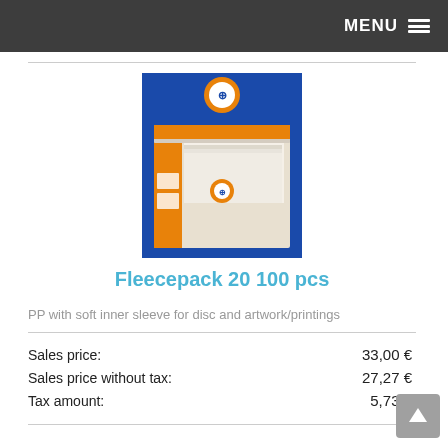MENU
[Figure (photo): Product photo of Fleecepack 20 100 pcs display box, blue and orange packaging]
Fleecepack 20 100 pcs
PP with soft inner sleeve for disc and artwork/printings
|  |  |
| --- | --- |
| Sales price: | 33,00 € |
| Sales price without tax: | 27,27 € |
| Tax amount: | 5,73 € |